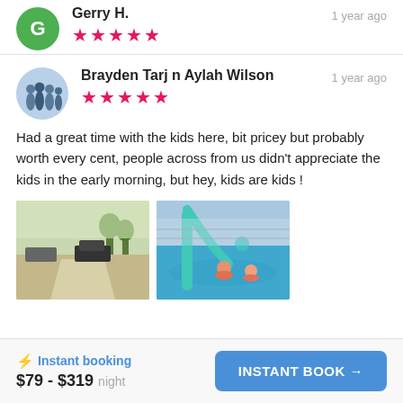Gerry H.
★★★★★
1 year ago
[Figure (photo): Avatar of Brayden Tarj n Aylah Wilson showing silhouettes of people]
Brayden Tarj n Aylah Wilson
★★★★★
1 year ago
Had a great time with the kids here, bit pricey but probably worth every cent, people across from us didn't appreciate the kids in the early morning, but hey, kids are kids !
[Figure (photo): Outdoor RV park scene with path and vehicles in evening light]
[Figure (photo): Children playing in swimming pool with water slide]
⚡ Instant booking
$79 - $319 night